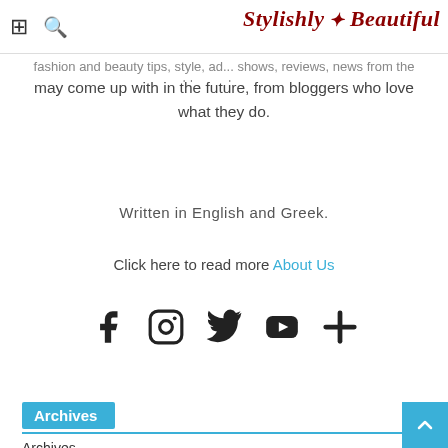Stylishly Beautiful [header with grid and search icons]
may come up with in the future, from bloggers who love what they do.
Written in English and Greek.
Click here to read more About Us
[Figure (infographic): Social media icons row: Facebook, Instagram, Twitter, YouTube, Google+]
Archives
Archives
Select Month